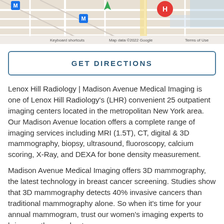[Figure (map): Google Maps screenshot showing a street map with Google logo, subway M markers, hotel H marker, and footer text: Keyboard shortcuts | Map data ©2022 Google | Terms of Use]
GET DIRECTIONS
Lenox Hill Radiology | Madison Avenue Medical Imaging is one of Lenox Hill Radiology's (LHR) convenient 25 outpatient imaging centers located in the metropolitan New York area. Our Madison Avenue location offers a complete range of imaging services including MRI (1.5T), CT, digital & 3D mammography, biopsy, ultrasound, fluoroscopy, calcium scoring, X-Ray, and DEXA for bone density measurement.
Madison Avenue Medical Imaging offers 3D mammography, the latest technology in breast cancer screening. Studies show that 3D mammography detects 40% invasive cancers than traditional mammography alone. So when it's time for your annual mammogram, trust our women's imaging experts to bring you the very best.